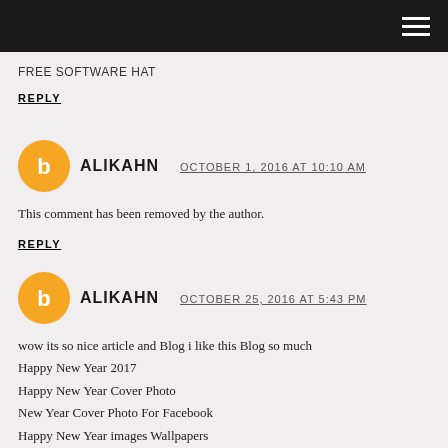FREE SOFTWARE HAT
REPLY
ALIKAHN  OCTOBER 1, 2016 AT 10:10 AM
This comment has been removed by the author.
REPLY
ALIKAHN  OCTOBER 25, 2016 AT 5:43 PM
wow its so nice article and Blog i like this Blog so much
Happy New Year 2017
Happy New Year Cover Photo
New Year Cover Photo For Facebook
Happy New Year images Wallpapers
REPLY
To leave a comment, click the button below to sign in